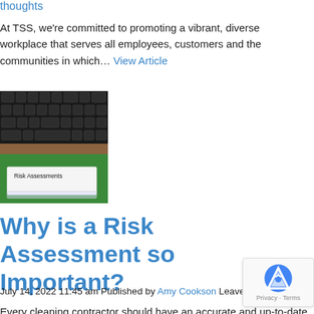thoughts
At TSS, we're committed to promoting a vibrant, diverse workplace that serves all employees, customers and the communities in which... View Article
[Figure (photo): A photo of a green folder with a label reading 'Risk Assessments' in front of a laptop keyboard on a wooden desk.]
Why is a Risk Assessment so Important?
July 14, 2022 11:45 am Published by Amy Cookson Leave you
Every cleaning contractor should have an accurate and up-to-date risk